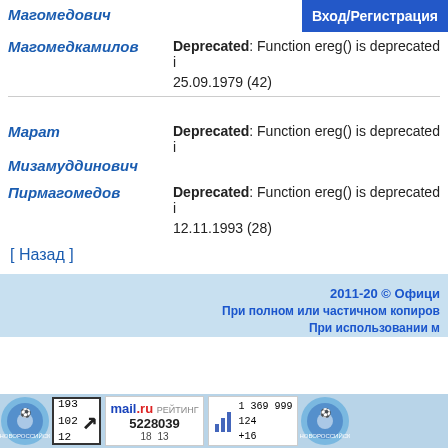Вход/Регистрация
Магомедович
Магомедкамилов
Deprecated: Function ereg() is deprecated i
25.09.1979 (42)
Марат
Мизамуддинович
Пирмагомедов
Deprecated: Function ereg() is deprecated i
12.11.1993 (28)
[ Назад ]
2011-20 © Офици
При полном или частичном копиров
При использовании м
[Figure (screenshot): Footer widgets: Novorossisk badge, counter box with numbers 193/102/12 and arrow, mail.ru rating widget showing 5228039 with 18/13, hotlog widget showing 1369999/124/+16, second Novorossisk badge]